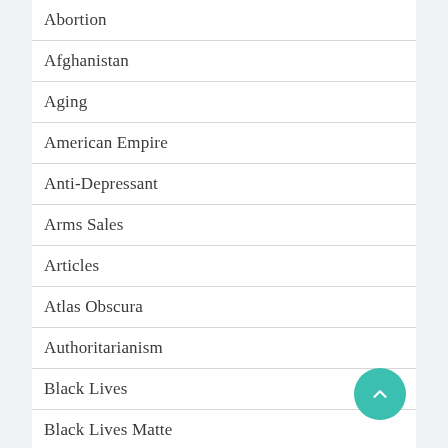Abortion
Afghanistan
Aging
American Empire
Anti-Depressant
Arms Sales
Articles
Atlas Obscura
Authoritarianism
Black Lives
Black Lives Matter